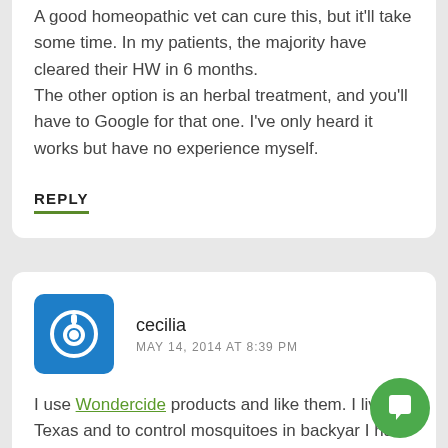A good homeopathic vet can cure this, but it'll take some time. In my patients, the majority have cleared their HW in 6 months.
The other option is an herbal treatment, and you'll have to Google for that one. I've only heard it works but have no experience myself.
REPLY
cecilia
MAY 14, 2014 AT 8:39 PM
I use Wondercide products and like them. I live in Texas and to control mosquitoes in backyar I have built tiny caves with rocks, whole